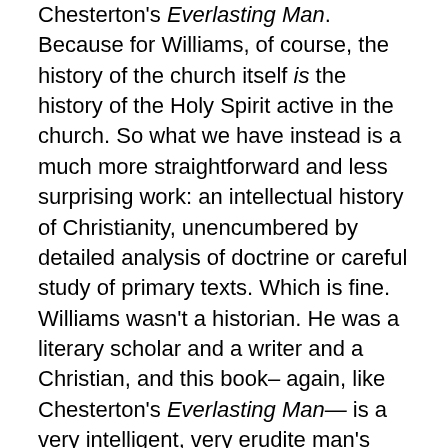Chesterton's Everlasting Man. Because for Williams, of course, the history of the church itself is the history of the Holy Spirit active in the church. So what we have instead is a much more straightforward and less surprising work: an intellectual history of Christianity, unencumbered by detailed analysis of doctrine or careful study of primary texts. Which is fine. Williams wasn't a historian. He was a literary scholar and a writer and a Christian, and this book– again, like Chesterton's Everlasting Man— is a very intelligent, very erudite man's apology for the church.
Apology as in explanation. How did the church get to where it is today? What forces and ideas shaped it throughout its history? This is something like modern “worldview” talk; reducing history to broad strokes and generalizations. Not necessarily a bad thing. The big picture. The sweep of history. Williams is understandably